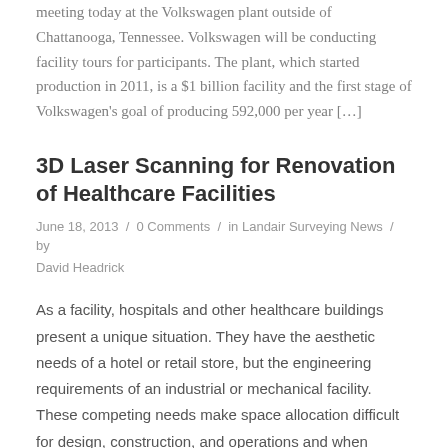meeting today at the Volkswagen plant outside of Chattanooga, Tennessee. Volkswagen will be conducting facility tours for participants. The plant, which started production in 2011, is a $1 billion facility and the first stage of Volkswagen's goal of producing 592,000 per year […]
3D Laser Scanning for Renovation of Healthcare Facilities
June 18, 2013  /  0 Comments  /  in Landair Surveying News  /  by David Headrick
As a facility, hospitals and other healthcare buildings present a unique situation. They have the aesthetic needs of a hotel or retail store, but the engineering requirements of an industrial or mechanical facility. These competing needs make space allocation difficult for design, construction, and operations and when